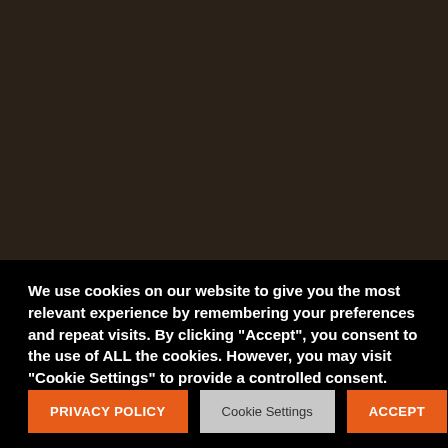[Figure (photo): Dark brown/near-black background image taking up the top portion of the page]
We use cookies on our website to give you the most relevant experience by remembering your preferences and repeat visits. By clicking “Accept”, you consent to the use of ALL the cookies. However, you may visit "Cookie Settings" to provide a controlled consent.
PRIVACY POLICY
Cookie Settings
ACCEPT